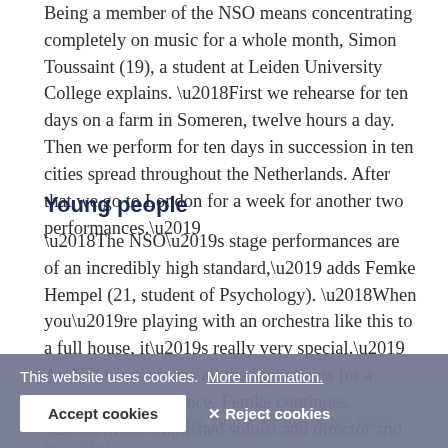Being a member of the NSO means concentrating completely on music for a whole month, Simon Toussaint (19), a student at Leiden University College explains. ‘First we rehearse for ten days on a farm in Someren, twelve hours a day. Then we perform for ten days in succession in ten cities spread throughout the Netherlands. After that we go to London for a week for another two performances.’
Young people
‘The NSO’s stage performances are of an incredibly high standard,’ adds Femke Hempel (21, student of Psychology). ‘When you’re playing with an orchestra like this to a full house, it’s really very special.’ An NSO concert has all the ingredients for a memorable experience, Femke continues. ‘An accomplished soloist and director and hundreds of students who enjoy making music together. This orchestra shows that the combination of young people and classical music can be highly successful.
Simon says... ‘For me, music is one of the most beautiful
This website uses cookies. More information. Accept cookies Reject cookies